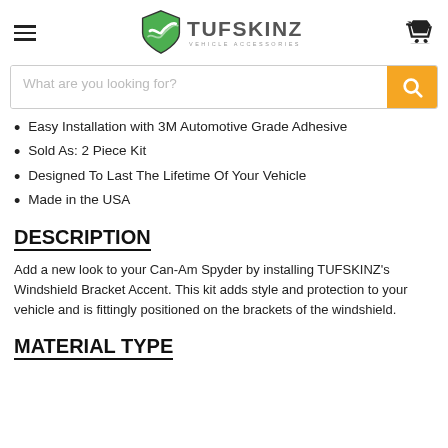TUFSKINZ - Vehicle Accessories
Easy Installation with 3M Automotive Grade Adhesive
Sold As: 2 Piece Kit
Designed To Last The Lifetime Of Your Vehicle
Made in the USA
DESCRIPTION
Add a new look to your Can-Am Spyder by installing TUFSKINZ's Windshield Bracket Accent. This kit adds style and protection to your vehicle and is fittingly positioned on the brackets of the windshield.
MATERIAL TYPE